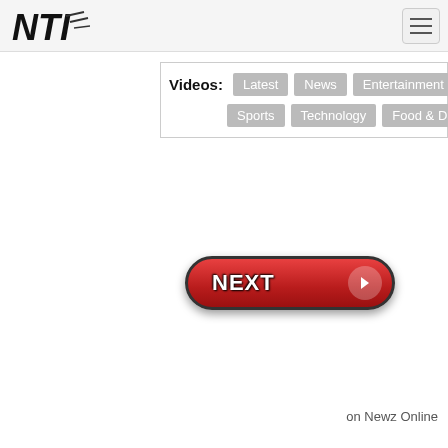[Figure (logo): NTI logo with stylized text and arrow/smoke graphic]
[Figure (screenshot): Hamburger menu icon button (three horizontal lines)]
Videos: Latest  News  Entertainment  Sports  Technology  Food & Dining
[Figure (screenshot): Red NEXT button with right arrow in a rounded pill shape]
on Newz Online